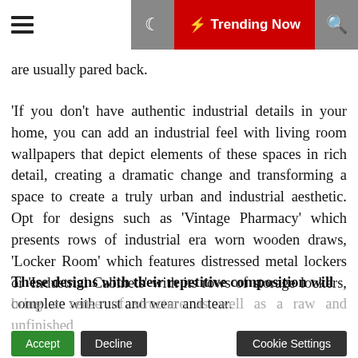Trending Now
are usually pared back.
'If you don't have authentic industrial details in your home, you can add an industrial feel with living room wallpapers that depict elements of these spaces in rich detail, creating a dramatic change and transforming a space to create a truly urban and industrial aesthetic. Opt for designs such as 'Vintage Pharmacy' which presents rows of industrial era worn wooden draws, 'Locker Room' which features distressed metal lockers or 'Industrial Cabinets' with its rows of storage lockers, complete with rust and wear and tear.
These designs with their repetitive composition will bring a sense of structure as well as a raw and unfinished feel to a room, complementing exposed brick work, concrete and 'distressed' leather furnishings,' shares Stefan [and creative Director]
This website uses cookies to improve your experience. We'll assume you're ok with this, but you can opt-out if you wish. Read More
2. Learn the skill of salvaging